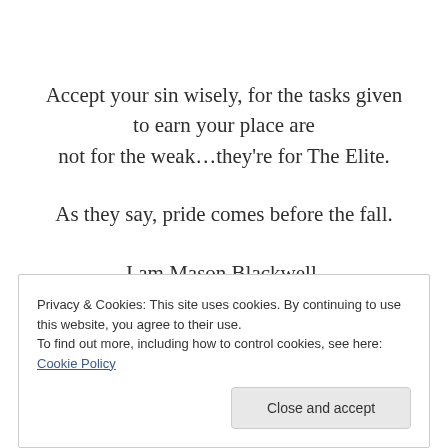Accept your sin wisely, for the tasks given to earn your place are not for the weak…they're for The Elite.
As they say, pride comes before the fall.
I am Mason Blackwell.
I am Pride.
Privacy & Cookies: This site uses cookies. By continuing to use this website, you agree to their use.
To find out more, including how to control cookies, see here: Cookie Policy